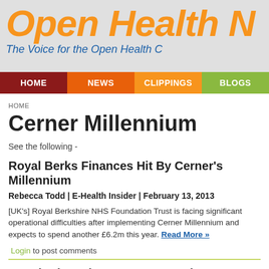Open Health N
The Voice for the Open Health C
HOME | NEWS | CLIPPINGS | BLOGS
HOME
Cerner Millennium
See the following -
Royal Berks Finances Hit By Cerner's Millennium
Rebecca Todd | E-Health Insider | February 13, 2013
[UK's] Royal Berkshire NHS Foundation Trust is facing significant operational difficulties after implementing Cerner Millennium and expects to spend another £6.2m this year. Read More »
Login to post comments
Standards and Open Source Make Advances in Apps ar